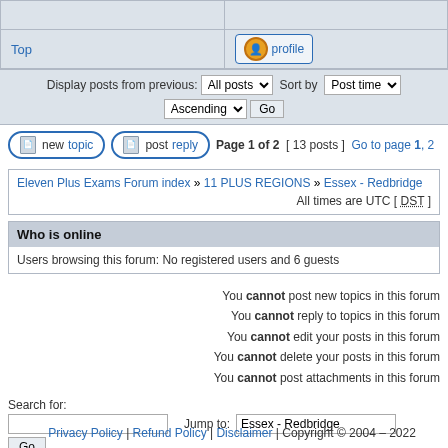| Top | profile |
Display posts from previous: All posts  Sort by Post time  Ascending  Go
newtopic  postreply  Page 1 of 2 [ 13 posts ] Go to page 1, 2
Eleven Plus Exams Forum index » 11 PLUS REGIONS » Essex - Redbridge  All times are UTC [ DST ]
Who is online
Users browsing this forum: No registered users and 6 guests
You cannot post new topics in this forum
You cannot reply to topics in this forum
You cannot edit your posts in this forum
You cannot delete your posts in this forum
You cannot post attachments in this forum
Search for:
Jump to: Essex - Redbridge
Go
Privacy Policy | Refund Policy | Disclaimer | Copyright © 2004 – 2022